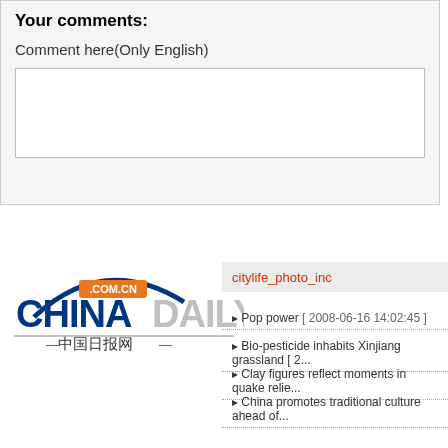Your comments:
Comment here(Only English)
[Figure (screenshot): Empty text input area / comment box with white background and grey border]
[Figure (logo): ChinaDaily.com.cn logo with Chinese characters 中国日报网]
citylife_photo_inc
Pop power [ 2008-06-16 14:02:45 ]
Bio-pesticide inhabits Xinjiang grassland [ 2...
Clay figures reflect moments in quake relie...
China promotes traditional culture ahead of...